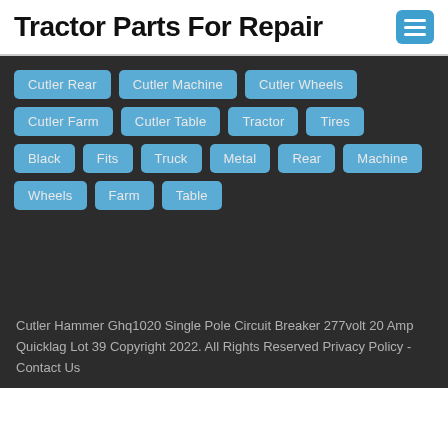Tractor Parts For Repair
Cutler Rear
Cutler Machine
Cutler Wheels
Cutler Farm
Cutler Table
Tractor
Tires
Black
Fits
Truck
Metal
Rear
Machine
Wheels
Farm
Table
Cutler Hammer Ghq1020 Single Pole Circuit Breaker 277volt 20 Amp Quicklag Lot 39 Copyright 2022. All Rights Reserved Privacy Policy - Contact Us